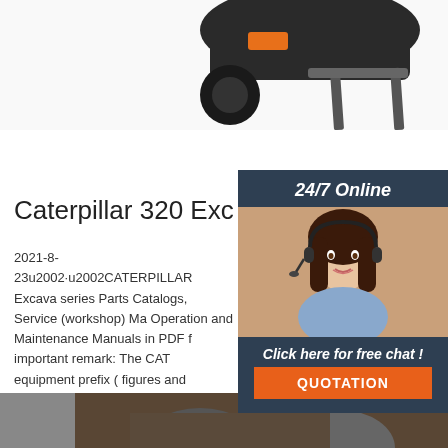[Figure (photo): Forklift / excavator attachment with forks visible at top of page, partially cropped]
Caterpillar 320 Excavator Ma
2021-8-23u2002·u2002CATERPILLAR Excava series Parts Catalogs, Service (workshop) Ma Operation and Maintenance Manuals in PDF f important remark: The CAT equipment prefix ( figures and numbers in serial number) is abso necessary information for …
[Figure (photo): Chat widget with woman wearing headset, dark blue background, '24/7 Online' header, 'Click here for free chat!' text, and orange QUOTATION button]
[Figure (photo): Partial bottom image, appears to be machinery or equipment, mostly cut off]